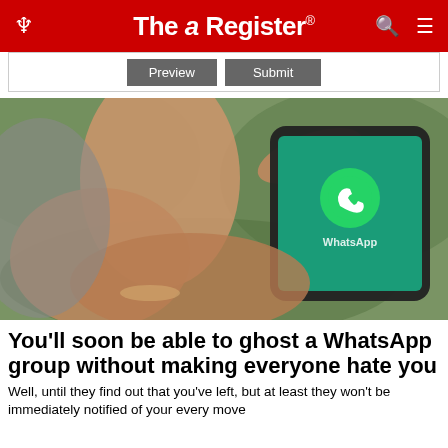The Register
[Figure (screenshot): Preview and Submit buttons in a web form area]
[Figure (photo): Person holding a smartphone displaying the WhatsApp app logo on a teal screen, outdoors with green background]
You'll soon be able to ghost a WhatsApp group without making everyone hate you
Well, until they find out that you've left, but at least they won't be immediately notified of your every move